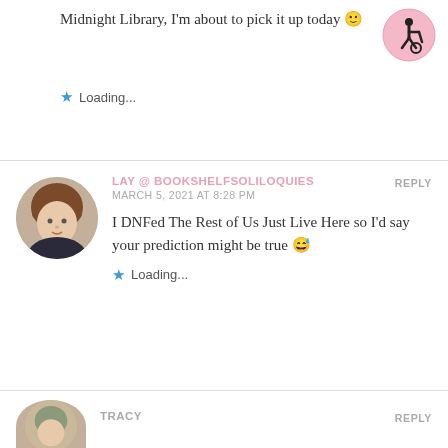Midnight Library, I'm about to pick it up today 🙂
Loading...
LAY @ BOOKSHELFSOLILOQUIES
MARCH 5, 2021 AT 8:28 PM
REPLY
I DNFed The Rest of Us Just Live Here so I'd say your prediction might be true 😅
Loading...
TRACY
REPLY